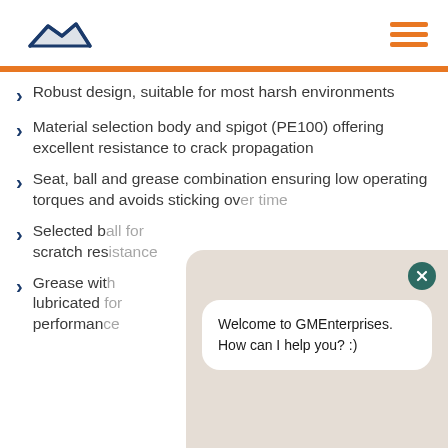Logo and navigation header
Robust design, suitable for most harsh environments
Material selection body and spigot (PE100) offering excellent resistance to crack propagation
Seat, ball and grease combination ensuring low operating torques and avoids sticking ov[er time]
Selected b[all for] scratch res[istance]
Grease wit[h] lubricated performan[ce]
[Figure (screenshot): Chat widget overlay with message: Welcome to GMEnterprises. How can I help you? :) with a close button]